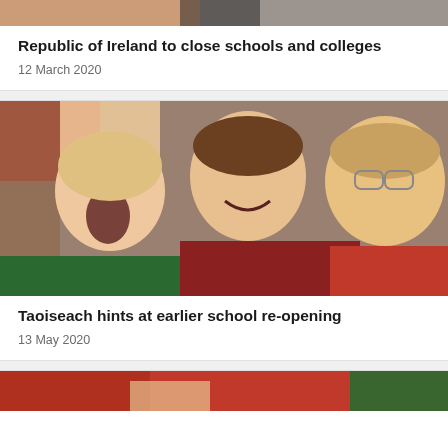[Figure (photo): Partial photo of people (tops cut off), appears to be in a school or formal setting]
Republic of Ireland to close schools and colleges
12 March 2020
[Figure (photo): Three young school children laughing and reading books together in a classroom setting]
Taoiseach hints at earlier school re-opening
13 May 2020
[Figure (photo): Partial photo of person in red clothing near a green chalkboard]